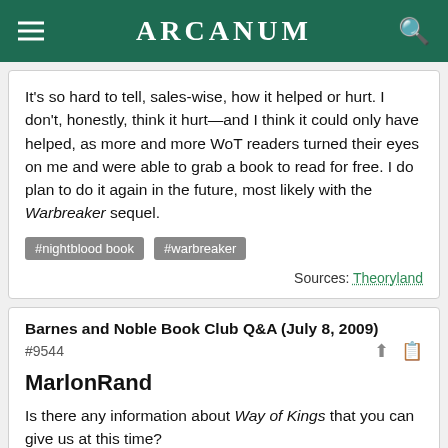ARCANUM
It's so hard to tell, sales-wise, how it helped or hurt. I don't, honestly, think it hurt—and I think it could only have helped, as more and more WoT readers turned their eyes on me and were able to grab a book to read for free. I do plan to do it again in the future, most likely with the Warbreaker sequel.
#nightblood book   #warbreaker
Sources: Theoryland
Barnes and Noble Book Club Q&A (July 8, 2009)
#9544
MarlonRand
Is there any information about Way of Kings that you can give us at this time?
Brandon Sanderson
I've wanted to do a long epic for a while. I guess that's what comes from reading Jordan and the others while growing up.